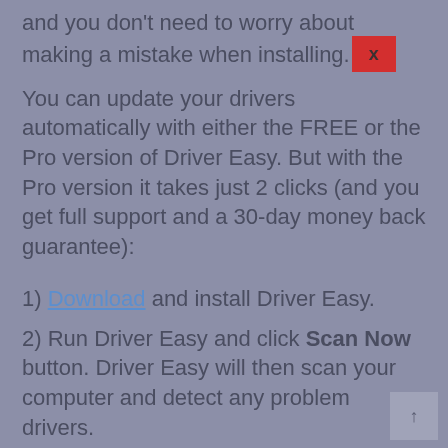and you don't need to worry about making a mistake when installing.
You can update your drivers automatically with either the FREE or the Pro version of Driver Easy. But with the Pro version it takes just 2 clicks (and you get full support and a 30-day money back guarantee):
1) Download and install Driver Easy.
2) Run Driver Easy and click Scan Now button. Driver Easy will then scan your computer and detect any problem drivers.